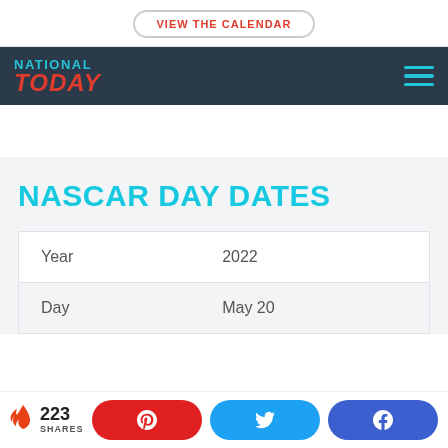VIEW THE CALENDAR
[Figure (logo): National Today logo with NATIONAL in cyan and TODAY in red italic on dark navy background, with hamburger menu icon in cyan on the right]
NASCAR DAY DATES
| Year | 2022 |
| Day | May 20 |
223 SHARES